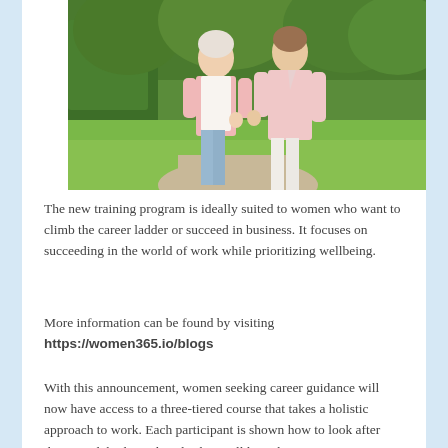[Figure (photo): Two older women in pink blazers walking together on a park path, smiling, with green trees and hedges in the background.]
The new training program is ideally suited to women who want to climb the career ladder or succeed in business. It focuses on succeeding in the world of work while prioritizing wellbeing.
More information can be found by visiting https://women365.io/blogs
With this announcement, women seeking career guidance will now have access to a three-tiered course that takes a holistic approach to work. Each participant is shown how to look after their mind, body, and soul. They will learn how